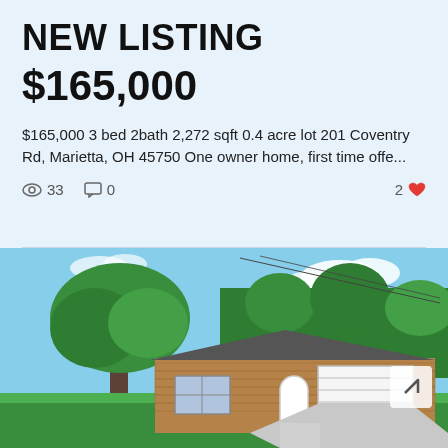NEW LISTING
$165,000
$165,000 3 bed 2bath 2,272 sqft 0.4 acre lot 201 Coventry Rd, Marietta, OH 45750 One owner home, first time offe...
33 views  0 comments  2 likes
[Figure (photo): Exterior photo of a single-story brick ranch home with a white garage door, large oak tree in front yard, green lawn, and blue sky with clouds. A concrete driveway leads to the garage.]